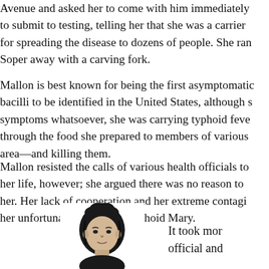Avenue and asked her to come with him immediately to submit to testing, telling her that she was a carrier for spreading the disease to dozens of people. She ran Soper away with a carving fork.
Mallon is best known for being the first asymptomatic bacilli to be identified in the United States, although she had no symptoms whatsoever, she was carrying typhoid fever through the food she prepared to members of various area—and killing them.
Mallon resisted the calls of various health officials to her life, however; she argued there was no reason to her. Her lack of cooperation and her extreme contagiousness earned her unfortunate nickname: Typhoid Mary.
[Figure (illustration): Black and white portrait illustration of Mary Mallon (Typhoid Mary), showing her face and upper body with dark hair styled up.]
It took mor official and